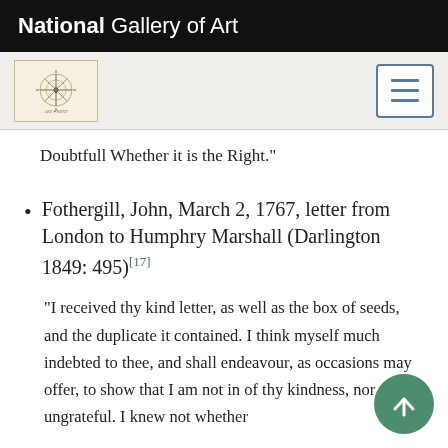National Gallery of Art
Doubtfull Whether it is the Right."
Fothergill, John, March 2, 1767, letter from London to Humphry Marshall (Darlington 1849: 495)[17]
"I received thy kind letter, as well as the box of seeds, and the duplicate it contained. I think myself much indebted to thee, and shall endeavour, as occasions may offer, to show that I am not in of thy kindness, nor ungrateful. I knew not whether